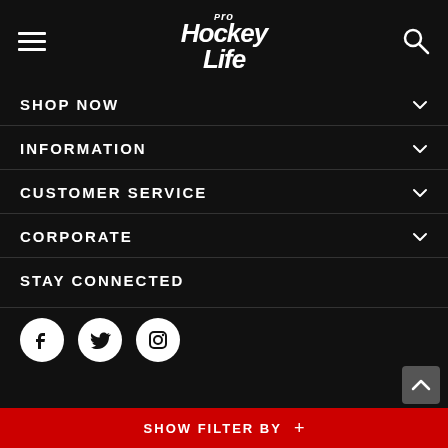[Figure (logo): Pro Hockey Life logo in italic white text on dark background, with hamburger menu on left and search icon on right]
SHOP NOW
INFORMATION
CUSTOMER SERVICE
CORPORATE
STAY CONNECTED
[Figure (other): Three social media icons: Facebook, Twitter/X, Instagram — white circles on dark background]
SHOW FILTER BY +